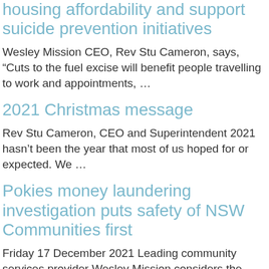housing affordability and support suicide prevention initiatives
Wesley Mission CEO, Rev Stu Cameron, says, “Cuts to the fuel excise will benefit people travelling to work and appointments, …
2021 Christmas message
Rev Stu Cameron, CEO and Superintendent 2021 hasn’t been the year that most of us hoped for or expected. We …
Pokies money laundering investigation puts safety of NSW Communities first
Friday 17 December 2021 Leading community services provider Wesley Mission considers the NSW Crime Commission inquiry to uncover the extent …